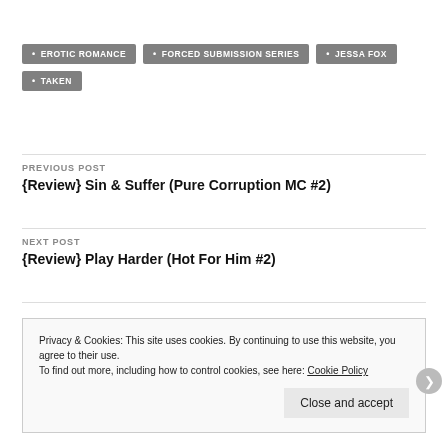• EROTIC ROMANCE
• FORCED SUBMISSION SERIES
• JESSA FOX
• TAKEN
PREVIOUS POST
{Review} Sin & Suffer (Pure Corruption MC #2)
NEXT POST
{Review} Play Harder (Hot For Him #2)
Privacy & Cookies: This site uses cookies. By continuing to use this website, you agree to their use.
To find out more, including how to control cookies, see here: Cookie Policy
Close and accept